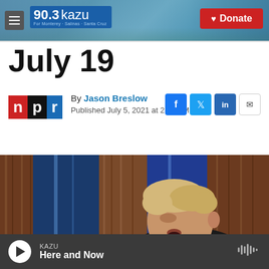90.3 kazu — For Monterey · Salinas · Santa Cruz | Donate
July 19
By Jason Breslow
Published July 5, 2021 at 2:50 PM PDT
[Figure (photo): Photo of Boris Johnson, UK Prime Minister, speaking at a podium in front of blue and wood-paneled backdrop at a press conference.]
KAZU — Here and Now